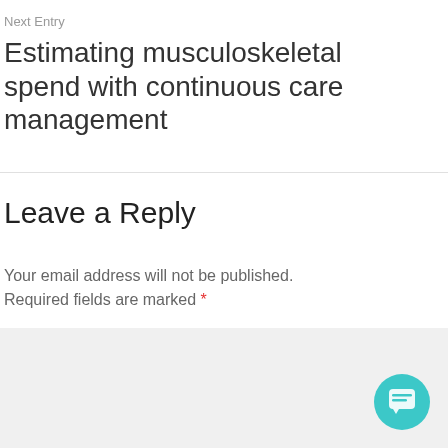Next Entry
Estimating musculoskeletal spend with continuous care management
Leave a Reply
Your email address will not be published. Required fields are marked *
[Figure (other): Gray textarea input box for comment entry]
[Figure (other): Teal circular chat/support button with speech bubble icon]